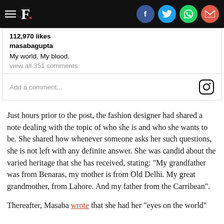F. [with social share icons: Facebook, Twitter, WhatsApp, Email]
[Figure (screenshot): Instagram embed showing 112,970 likes, username masabagupta, caption 'My world. My blood.', 'view all 351 comments', and 'Add a comment...' input with Instagram icon]
Just hours prior to the post, the fashion designer had shared a note dealing with the topic of who she is and who she wants to be. She shared how whenever someone asks her such questions, she is not left with any definite answer. She was candid about the varied heritage that she has received, stating: "My grandfather was from Benaras, my mother is from Old Delhi. My great grandmother, from Lahore. And my father from the Carribean".
Thereafter, Masaba wrote that she had her "eyes on the world"